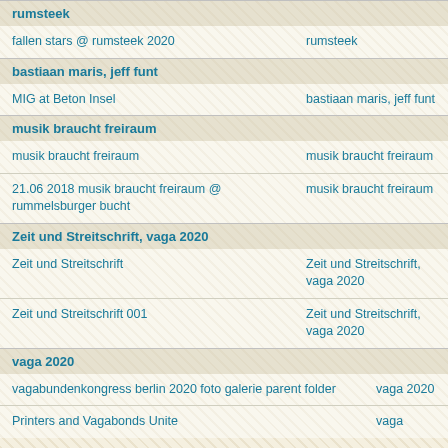rumsteek
| title | collection |
| --- | --- |
| fallen stars @ rumsteek 2020 | rumsteek |
bastiaan maris, jeff funt
| title | collection |
| --- | --- |
| MIG at Beton Insel | bastiaan maris, jeff funt |
musik braucht freiraum
| title | collection |
| --- | --- |
| musik braucht freiraum | musik braucht freiraum |
| 21.06 2018 musik braucht freiraum @ rummelsburger bucht | musik braucht freiraum |
Zeit und Streitschrift, vaga 2020
| title | collection |
| --- | --- |
| Zeit und Streitschrift | Zeit und Streitschrift, vaga 2020 |
| Zeit und Streitschrift 001 | Zeit und Streitschrift, vaga 2020 |
vaga 2020
| title | collection |
| --- | --- |
| vagabundenkongress berlin 2020 foto galerie parent folder | vaga 2020 |
| Printers and Vagabonds Unite | vaga |